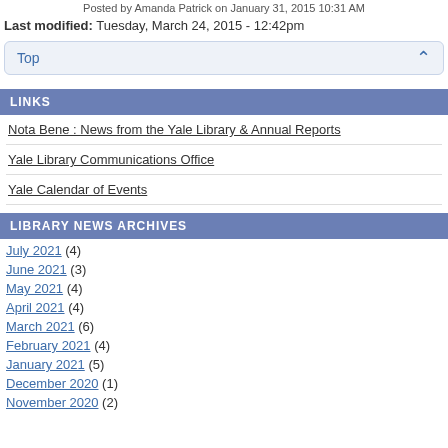Posted by Amanda Patrick on January 31, 2015 10:31 AM
Last modified: Tuesday, March 24, 2015 - 12:42pm
Top
LINKS
Nota Bene : News from the Yale Library & Annual Reports
Yale Library Communications Office
Yale Calendar of Events
LIBRARY NEWS ARCHIVES
July 2021 (4)
June 2021 (3)
May 2021 (4)
April 2021 (4)
March 2021 (6)
February 2021 (4)
January 2021 (5)
December 2020 (1)
November 2020 (2)